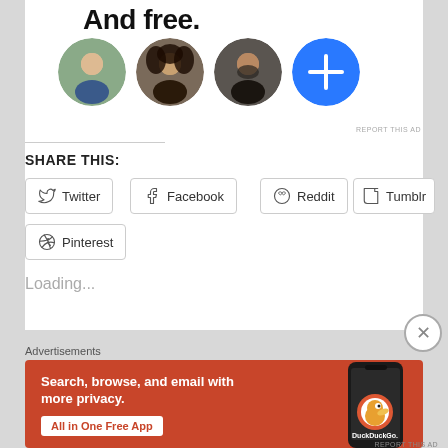And free.
[Figure (photo): Four circular avatar images in a row: three person photos and one blue plus button]
REPORT THIS AD
SHARE THIS:
Twitter
Facebook
Reddit
Tumblr
Pinterest
Loading...
Advertisements
[Figure (other): DuckDuckGo advertisement banner: Search, browse, and email with more privacy. All in One Free App. Shows phone with DuckDuckGo logo.]